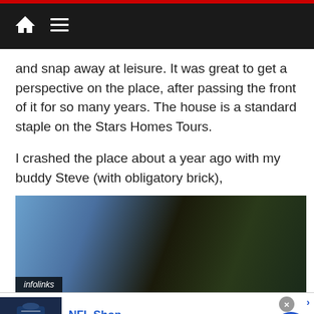Navigation header with home icon and hamburger menu
and snap away at leisure.  It was great to get a perspective on the place, after passing the front of it for so many years.  The house is a standard staple on the Stars Homes Tours.
I crashed the place about a year ago with my buddy Steve (with obligatory brick),
[Figure (photo): Outdoor photo showing a person near trees with blue sky, with infolinks badge overlay in bottom left]
[Figure (screenshot): NFL Shop advertisement: Free shipping on orders over $25, www.nflshop.com, with Dallas Cowboys jersey image and blue arrow button]